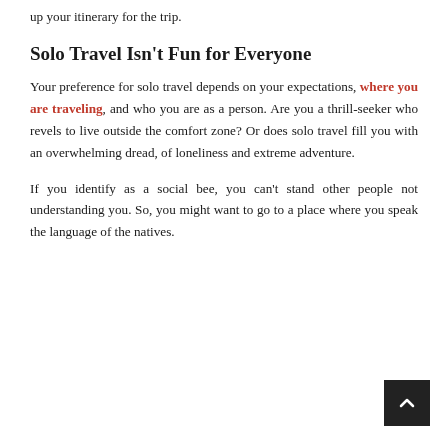up your itinerary for the trip.
Solo Travel Isn't Fun for Everyone
Your preference for solo travel depends on your expectations, where you are traveling, and who you are as a person. Are you a thrill-seeker who revels to live outside the comfort zone? Or does solo travel fill you with an overwhelming dread, of loneliness and extreme adventure.
If you identify as a social bee, you can't stand other people not understanding you. So, you might want to go to a place where you speak the language of the natives.